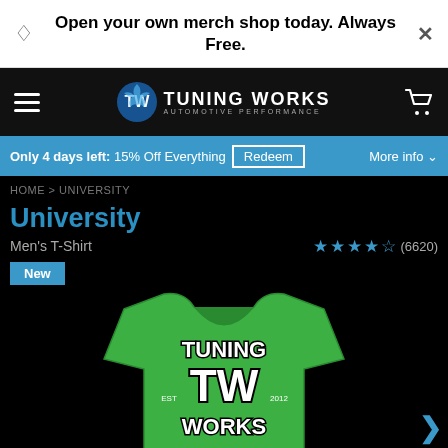Open your own merch shop today. Always Free.
[Figure (logo): TW Tuning Works Automotive Performance logo with gear icon]
Only 4 days left: 15% Off Everything  Redeem  More info
HOME > UNIVERSITY
University
Men's T-Shirt
★★★★½ (6620)
New
[Figure (photo): Green University TW Tuning Works EST 2012 men's t-shirt product photo]